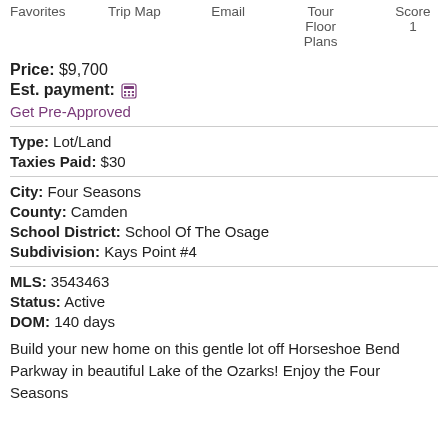Favorites   Trip Map   Email   Tour Floor Plans   Score 1
Price: $9,700
Est. payment: [calculator icon]
Get Pre-Approved
Type: Lot/Land
Taxies Paid: $30
City: Four Seasons
County: Camden
School District: School Of The Osage
Subdivision: Kays Point #4
MLS: 3543463
Status: Active
DOM: 140 days
Build your new home on this gentle lot off Horseshoe Bend Parkway in beautiful Lake of the Ozarks! Enjoy the Four Seasons